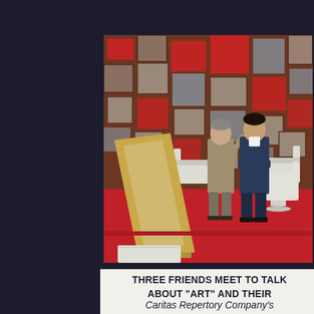[Figure (photo): Two men standing on a red carpet stage set. The older man in a gray-khaki suit gestures with one hand. The younger man in a dark navy suit stands with arms crossed. Behind them is a brown wall with geometric red and gray square decorations. In the foreground is a large gold picture frame leaning on a white pedestal. White armchairs are visible on the stage.]
THREE FRIENDS MEET TO TALK ABOUT "ART" AND THEIR FRIENDSHIPS ARE TESTED, IT IS FUNNY AND ENGAGING. BRING YOUR OWN PICTURE FRAME.
Caritas Repertory Company's